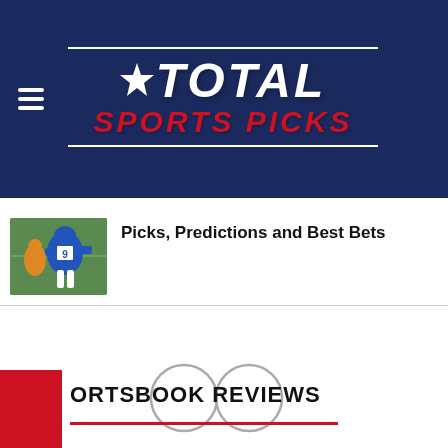Total Sports Picks
Picks, Predictions and Best Bets
[Figure (photo): Football player wearing number 9 jersey in blue and white uniform running on green field]
[Figure (other): Loading spinner with two circular outlines indicating content is loading]
SPORTSBOOK REVIEWS